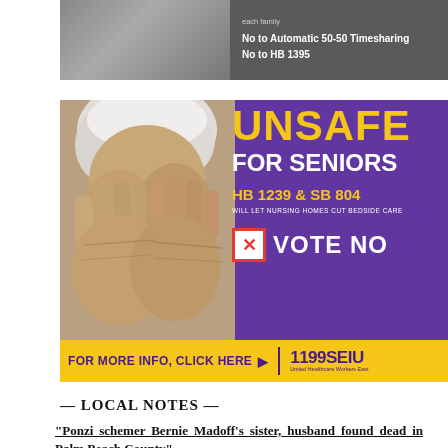[Figure (photo): Top banner showing a dark background with text about timesharing and HB 1395, with a photo of people on the left side]
[Figure (infographic): SEIU 1199 political advertisement with purple background, elderly person covering face with hands, yellow text reading UNSAFE FOR SENIORS, HB 1239 & SB 804 WILL LET NURSING HOMES CUT BEDSIDE CARE, red checkbox with X VOTE NO, yellow bottom bar FOR MORE INFO CLICK HERE with 1199SEIU United Healthcare Workers East logo]
— LOCAL NOTES —
"Ponzi schemer Bernie Madoff's sister, husband found dead in Palm Beach County"